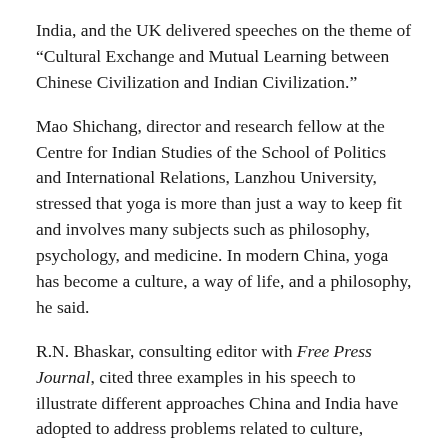India, and the UK delivered speeches on the theme of “Cultural Exchange and Mutual Learning between Chinese Civilization and Indian Civilization.”
Mao Shichang, director and research fellow at the Centre for Indian Studies of the School of Politics and International Relations, Lanzhou University, stressed that yoga is more than just a way to keep fit and involves many subjects such as philosophy, psychology, and medicine. In modern China, yoga has become a culture, a way of life, and a philosophy, he said.
R.N. Bhaskar, consulting editor with Free Press Journal, cited three examples in his speech to illustrate different approaches China and India have adopted to address problems related to culture, education, and poverty. He emphasized that when talking about equality, poverty reduction is the best metric to gauge its progress and that education results in higher